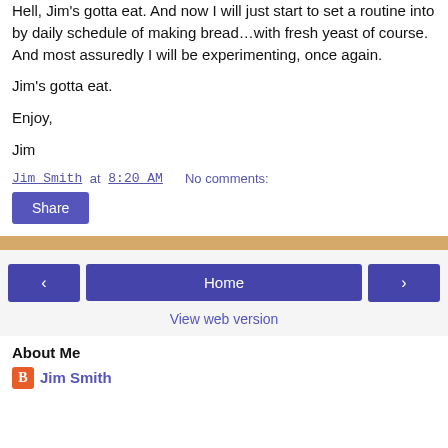Hell, Jim's gotta eat. And now I will just start to set a routine into by daily schedule of making bread…with fresh yeast of course. And most assuredly I will be experimenting, once again.
Jim's gotta eat.
Enjoy,
Jim
Jim Smith at 8:20 AM    No comments:
Share
Home
View web version
About Me
Jim Smith